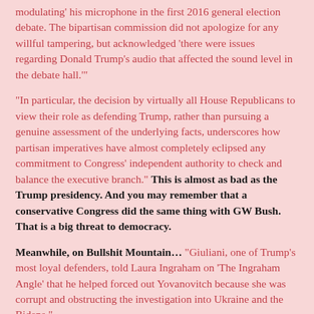modulating' his microphone in the first 2016 general election debate. The bipartisan commission did not apologize for any willful tampering, but acknowledged 'there were issues regarding Donald Trump’s audio that affected the sound level in the debate hall.'"
"In particular, the decision by virtually all House Republicans to view their role as defending Trump, rather than pursuing a genuine assessment of the underlying facts, underscores how partisan imperatives have almost completely eclipsed any commitment to Congress' independent authority to check and balance the executive branch." This is almost as bad as the Trump presidency. And you may remember that a conservative Congress did the same thing with GW Bush. That is a big threat to democracy.
Meanwhile, on Bullshit Mountain… "Giuliani, one of Trump's most loyal defenders, told Laura Ingraham on 'The Ingraham Angle' that he helped forced out Yovanovitch because she was corrupt and obstructing the investigation into Ukraine and the Bidens."